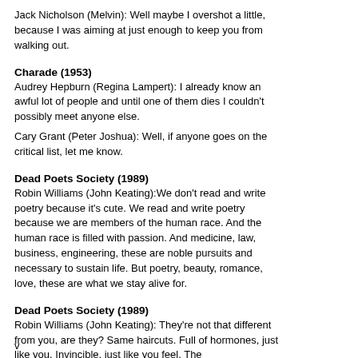Jack Nicholson (Melvin): Well maybe I overshot a little, because I was aiming at just enough to keep you from walking out.
Charade (1953)
Audrey Hepburn (Regina Lampert): I already know an awful lot of people and until one of them dies I couldn't possibly meet anyone else.
Cary Grant (Peter Joshua): Well, if anyone goes on the critical list, let me know.
Dead Poets Society (1989)
Robin Williams (John Keating):We don't read and write poetry because it's cute. We read and write poetry because we are members of the human race. And the human race is filled with passion. And medicine, law, business, engineering, these are noble pursuits and necessary to sustain life. But poetry, beauty, romance, love, these are what we stay alive for.
Dead Poets Society (1989)
Robin Williams (John Keating): They're not that different from you, are they? Same haircuts. Full of hormones, just like you. Invincible, just like you feel. They're holding their futures in...
v